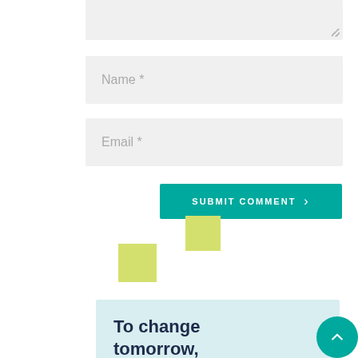[Figure (screenshot): Partial textarea input field at the top of the page, grey background with resize handle]
Name *
Email *
SUBMIT COMMENT >
[Figure (illustration): Two decorative lime-green squares used as design accents]
To change tomorrow, contact us